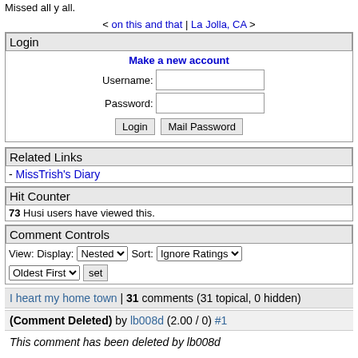Missed all y all.
< on this and that | La Jolla, CA >
Login
Make a new account
Username:
Password:
Login  Mail Password
Related Links
- MissTrish's Diary
Hit Counter
73 Husi users have viewed this.
Comment Controls
View: Display: Nested  Sort: Ignore Ratings  Oldest First  set
I heart my home town | 31 comments (31 topical, 0 hidden)
(Comment Deleted) by lb008d (2.00 / 0) #1
This comment has been deleted by lb008d